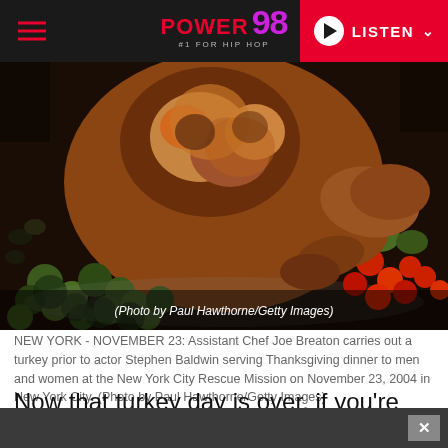POWER 98 #1 FOR HIP HOP — LISTEN
[Figure (photo): Close-up photograph of a roasted turkey on a platter surrounded by brussels sprouts, cherry tomatoes, and other vegetables. Photo credit overlay: (Photo by Paul Hawthorne/Getty Images)]
NEW YORK - NOVEMBER 23: Assistant Chef Joe Breaton carries out a turkey prior to actor Stephen Baldwin serving Thanksgiving dinner to men and women at the New York City Rescue Mission on November 23, 2004 in New York City. (Photo by Paul Hawthorne/Getty Images)
Now that turkey day is over, if you're like me,